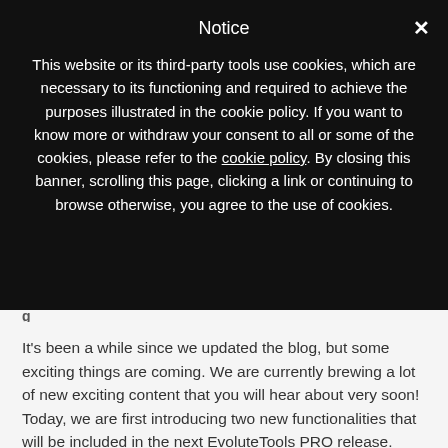Notice
This website or its third-party tools use cookies, which are necessary to its functioning and required to achieve the purposes illustrated in the cookie policy. If you want to know more or withdraw your consent to all or some of the cookies, please refer to the cookie policy. By closing this banner, scrolling this page, clicking a link or continuing to browse otherwise, you agree to the use of cookies.
It's been a while since we updated the blog, but some exciting things are coming. We are currently brewing a lot of new exciting content that you will hear about very soon! Today, we are first introducing two new functionalities that will be included in the next EvoluteTools PRO release. Let's get into the details.
Geodesic Polylines on Meshes